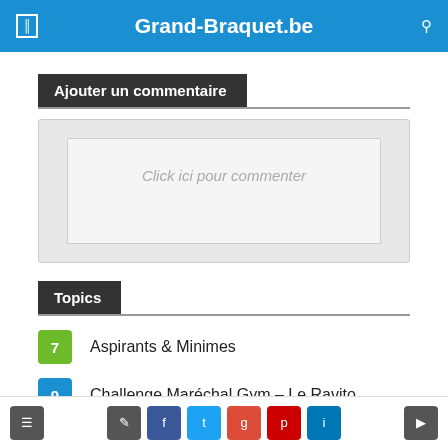Grand-Braquet.be
Ajouter un commentaire
Click ici pour commenter
Topics
7  Aspirants & Minimes
9  Challenge Maréchal Gym – Le Ravito
26  Communiqués officiels
navigation icons